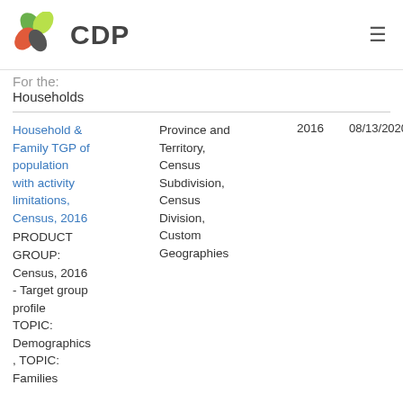CDP
For the: Households
| Title | Geography | Year | Date |
| --- | --- | --- | --- |
| Household & Family TGP of population with activity limitations, Census, 2016 PRODUCT GROUP: Census, 2016 - Target group profile TOPIC: Demographics, TOPIC: Families | Province and Territory, Census Subdivision, Census Division, Custom Geographies | 2016 | 08/13/2020 |